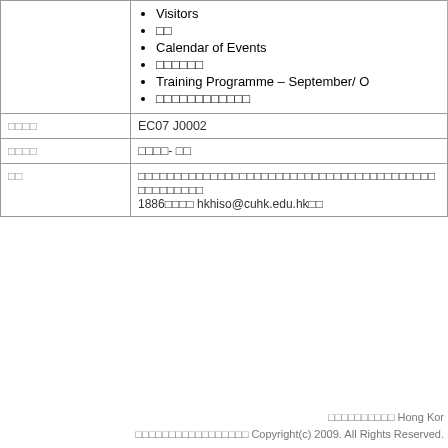|  | • Visitors
• □□
• Calendar of Events
• □□□□□□
• Training Programme – September/ O
• □□□□□□□□□□□□ |
| □□□□ | EC07 J0002 |
| □□□□ | □□□□- □□ |
| □□ | □□□□□□□□□□□□□□□□□□□□□□□□□□□□□□□□□□□□□□□□□□□□□□□
1886□□□□ hkhiso@cuhk.edu.hk□□ |
□□□□□□□□□□ Hong Kor
□□□□□□□□□□□□□□□□□ Copyright(c) 2009. All Rights Reserved.